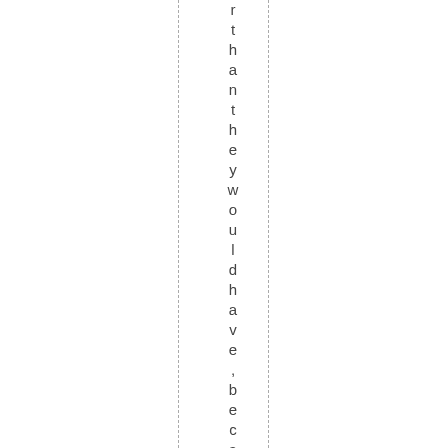r than they would have, because